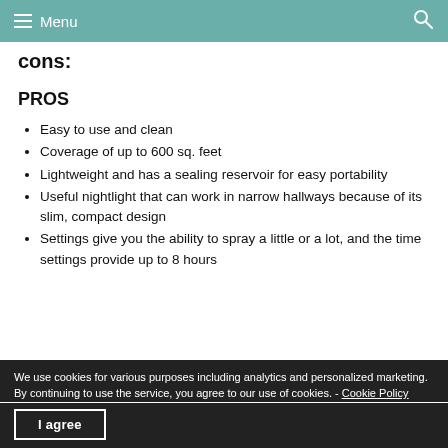Menu
cons:
PROS
Easy to use and clean
Coverage of up to 600 sq. feet
Lightweight and has a sealing reservoir for easy portability
Useful nightlight that can work in narrow hallways because of its slim, compact design
Settings give you the ability to spray a little or a lot, and the time settings provide up to 8 hours
We use cookies for various purposes including analytics and personalized marketing. By continuing to use the service, you agree to our use of cookies. - Cookie Policy
I agree